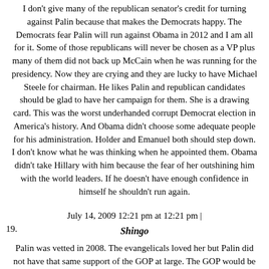I don't give many of the republican senator's credit for turning against Palin because that makes the Democrats happy. The Democrats fear Palin will run against Obama in 2012 and I am all for it. Some of those republicans will never be chosen as a VP plus many of them did not back up McCain when he was running for the presidency. Now they are crying and they are lucky to have Michael Steele for chairman. He likes Palin and republican candidates should be glad to have her campaign for them. She is a drawing card. This was the worst underhanded corrupt Democrat election in America's history. And Obama didn't choose some adequate people for his administration. Holder and Emanuel both should step down. I don't know what he was thinking when he appointed them. Obama didn't take Hillary with him because the fear of her outshining him with the world leaders. If he doesn't have enough confidence in himself he shouldn't run again.
July 14, 2009 12:21 pm at 12:21 pm |
19.   Shingo
Palin was vetted in 2008. The evangelicals loved her but Palin did not have that same support of the GOP at large. The GOP would be wise to not spend their resources on someone who has already been vetted and the results of the outcome are obvious.